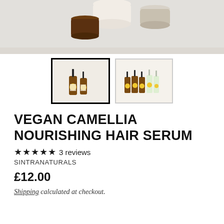[Figure (photo): Top portion of a product photo showing amber glass jars with white lids on a light grey surface]
[Figure (photo): Thumbnail showing two amber dropper serum bottles with yellow sun logo labels, selected with black border]
[Figure (photo): Thumbnail showing multiple amber dropper bottles and clear bottles with yellow sun logos arranged together]
VEGAN CAMELLIA NOURISHING HAIR SERUM
★★★★★ 3 reviews
SINTRANATURALS
£12.00
Shipping calculated at checkout.